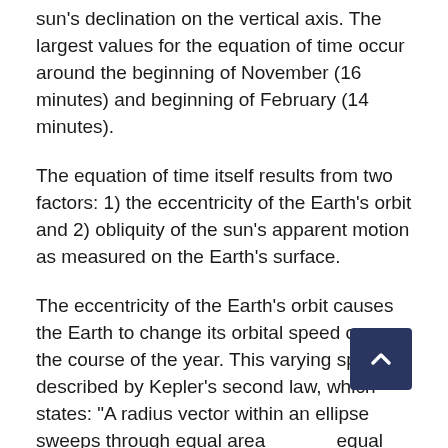sun's declination on the vertical axis. The largest values for the equation of time occur around the beginning of November (16 minutes) and beginning of February (14 minutes).
The equation of time itself results from two factors: 1) the eccentricity of the Earth's orbit and 2) obliquity of the sun's apparent motion as measured on the Earth's surface.
The eccentricity of the Earth's orbit causes the Earth to change its orbital speed over the course of the year. This varying speed is described by Kepler's second law, which states: “A radius vector within an ellipse sweeps through equal areas in equal time intervals.” Thus, the Earth's speed at perihelion (Earth's closest point to the sun) is